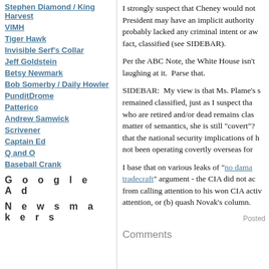Stephen Diamond / King Harvest
VIMH
Tiger Hawk
Invisible Serf's Collar
Jeff Goldstein
Betsy Newmark
Bob Somerby / Daily Howler
PunditDrome
Patterico
Andrew Samwick
Scrivener
Captain Ed
Q and O
Baseball Crank
Google Ad
Newsmakers
I strongly suspect that Cheney would not... President may have an implicit authority... probably lacked any criminal intent or aw... fact, classified (see SIDEBAR).
Per the ABC Note, the White House isn't... laughing at it.  Parse that.
SIDEBAR:  My view is that Ms. Plame's s... remained classified, just as I suspect tha... who are retired and/or dead remains clas... matter of semantics, she is still "covert"?... that the national security implications of h... not been operating covertly overseas for...
I base that on various leaks of "no dama... tradecraft" argument - the CIA did not ac... from calling attention to his won CIA acti... attention, or (b) quash Novak's column.
Posted
Comments